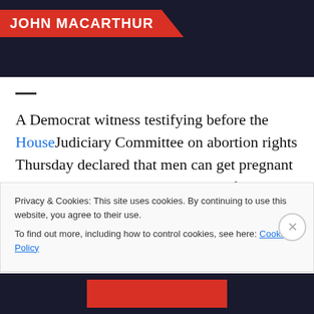[Figure (photo): Dark background header image with a red diagonal banner showing 'JOHN MACARTHUR' in white bold text, and a partially visible person in dark clothing on the right]
—
A Democrat witness testifying before the HouseJudiciary Committee on abortion rights Thursday declared that men can get pregnant and have abortions. This reminds of Romans chapter 1 and also John MacArthur's commentary on the 2022 Agenda of the Democratic Party:
Privacy & Cookies: This site uses cookies. By continuing to use this website, you agree to their use.
To find out more, including how to control cookies, see here: Cookie Policy
Close and accept